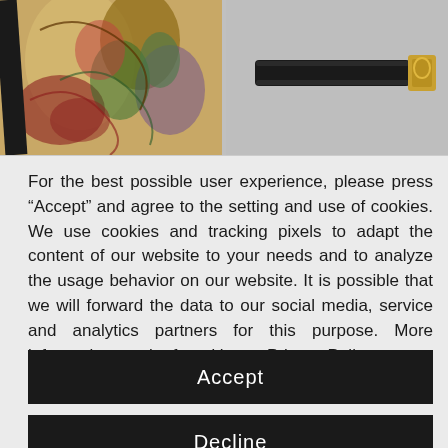[Figure (photo): Two product photos side by side: left shows a paisley-patterned crossbody bag with a black strap, right shows a plain black wrist strap with a gold clasp, against a gray background.]
For the best possible user experience, please press “Accept” and agree to the setting and use of cookies. We use cookies and tracking pixels to adapt the content of our website to your needs and to analyze the usage behavior on our website. It is possible that we will forward the data to our social media, service and analytics partners for this purpose. More information can be found in our Privacy Policy.
Accept
Decline